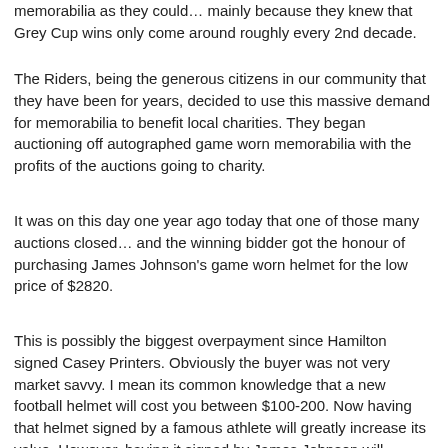memorabilia as they could… mainly because they knew that Grey Cup wins only come around roughly every 2nd decade.
The Riders, being the generous citizens in our community that they have been for years, decided to use this massive demand for memorabilia to benefit local charities. They began auctioning off autographed game worn memorabilia with the profits of the auctions going to charity.
It was on this day one year ago today that one of those many auctions closed… and the winning bidder got the honour of purchasing James Johnson's game worn helmet for the low price of $2820.
This is possibly the biggest overpayment since Hamilton signed Casey Printers. Obviously the buyer was not very market savvy. I mean its common knowledge that a new football helmet will cost you between $100-200. Now having that helmet signed by a famous athlete will greatly increase its value. However, having it signed by James Johnson will actually devalue it roughly 50%. Furthermore you have to factor in that at the time of the auction James Johnson was at the apex of his career and has since plummeted like my